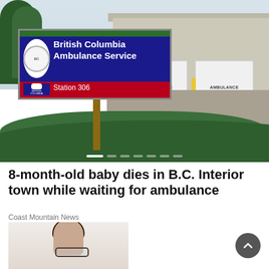[Figure (photo): British Columbia Ambulance Service Station 306 sign in front of an ambulance station building with two white garage doors marked 'AMBULANCE NO PARKING', surrounded by green hedges and trees.]
8-month-old baby dies in B.C. Interior town while waiting for ambulance
Coast Mountain News
[Figure (photo): Partial photo of a person wearing glasses, showing face and upper body cropped at the bottom of the page.]